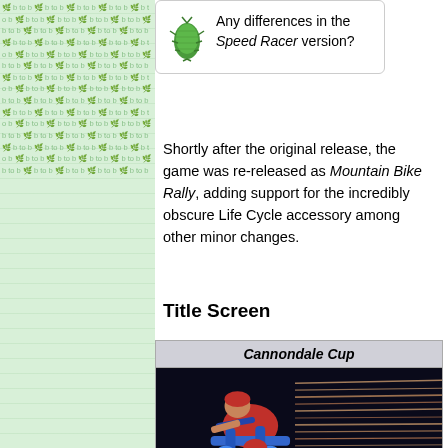[Figure (other): Left sidebar with green tiled/textured background pattern with repeated small text and leaf-like icons]
Any differences in the Speed Racer version?
Shortly after the original release, the game was re-released as Mountain Bike Rally, adding support for the incredibly obscure Life Cycle accessory among other minor changes.
Title Screen
| Cannondale Cup |
| --- |
| [game screenshot showing cyclist character on blue bike against dark background with speed lines] |
Cannondale Cup